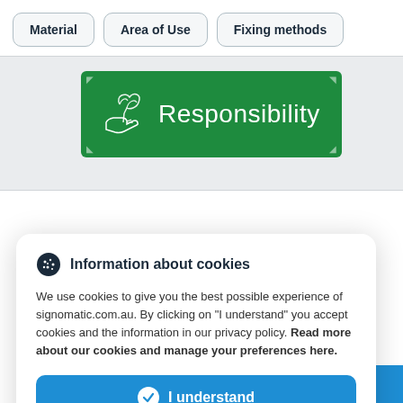Material
Area of Use
Fixing methods
[Figure (illustration): Green banner with white hand holding plant icon and text 'Responsibility' on a light grey background]
We use cookies to give you the best possible experience of signomatic.com.au. By clicking on "I understand" you accept cookies and the information in our privacy policy. Read more about our cookies and manage your preferences here.
I understand